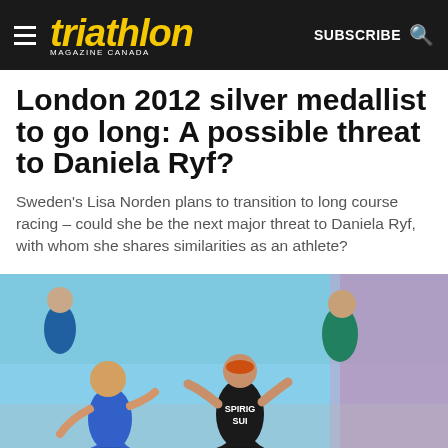triathlon MAGAZINE CANADA — SUBSCRIBE
London 2012 silver medallist to go long: A possible threat to Daniela Ryf?
Sweden's Lisa Norden plans to transition to long course racing – could she be the next major threat to Daniela Ryf, with whom she shares similarities as an athlete?
[Figure (photo): Triathlon race finish photo showing athletes running, including one wearing a black kit with SPIRIG and SUI written on it, in a blue-toned arena setting]